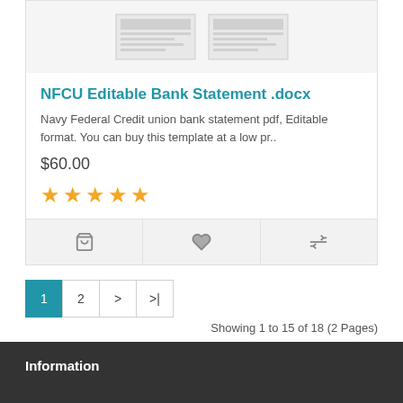[Figure (screenshot): Thumbnail preview of NFCU bank statement document pages]
NFCU Editable Bank Statement .docx
Navy Federal Credit union bank statement pdf, Editable format. You can buy this template at a low pr..
$60.00
[Figure (other): 5-star rating shown with yellow stars]
[Figure (other): Action buttons: cart, heart/wishlist, compare]
1  2  >  >|
Showing 1 to 15 of 18 (2 Pages)
Information